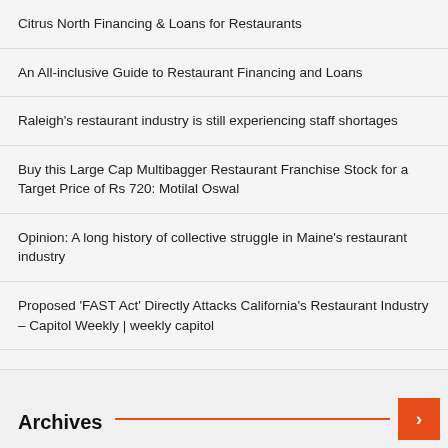Citrus North Financing & Loans for Restaurants
An All-inclusive Guide to Restaurant Financing and Loans
Raleigh's restaurant industry is still experiencing staff shortages
Buy this Large Cap Multibagger Restaurant Franchise Stock for a Target Price of Rs 720: Motilal Oswal
Opinion: A long history of collective struggle in Maine's restaurant industry
Proposed 'FAST Act' Directly Attacks California's Restaurant Industry – Capitol Weekly | weekly capitol
Shortage of workers in the restaurant industry, other challenges raise fears of mass closures
Archives